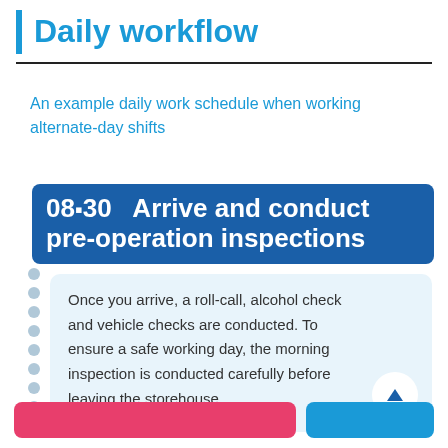Daily workflow
An example daily work schedule when working alternate-day shifts
08:30  Arrive and conduct pre-operation inspections
Once you arrive, a roll-call, alcohol check and vehicle checks are conducted. To ensure a safe working day, the morning inspection is conducted carefully before leaving the storehouse.